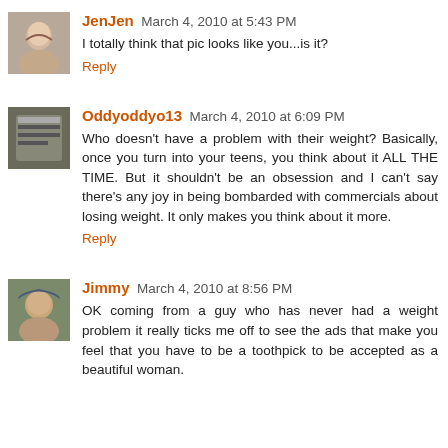JenJen March 4, 2010 at 5:43 PM
I totally think that pic looks like you...is it?
Reply
Oddyoddyo13 March 4, 2010 at 6:09 PM
Who doesn't have a problem with their weight? Basically, once you turn into your teens, you think about it ALL THE TIME. But it shouldn't be an obsession and I can't say there's any joy in being bombarded with commercials about losing weight. It only makes you think about it more.
Reply
Jimmy March 4, 2010 at 8:56 PM
OK coming from a guy who has never had a weight problem it really ticks me off to see the ads that make you feel that you have to be a toothpick to be accepted as a beautiful woman.